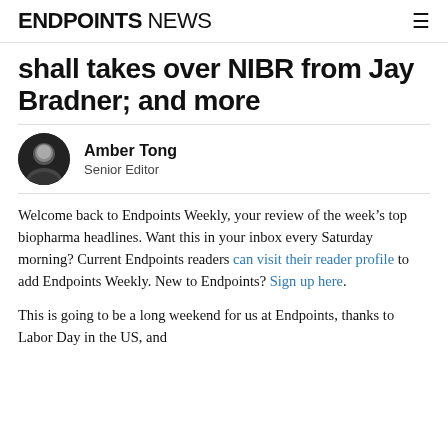ENDPOINTS NEWS
shall takes over NIBR from Jay Bradner; and more
Amber Tong
Senior Editor
Welcome back to Endpoints Weekly, your review of the week’s top biopharma headlines. Want this in your inbox every Saturday morning? Current Endpoints readers can visit their reader profile to add Endpoints Weekly. New to Endpoints? Sign up here.
This is going to be a long weekend for us at Endpoints, thanks to Labor Day in the US, and